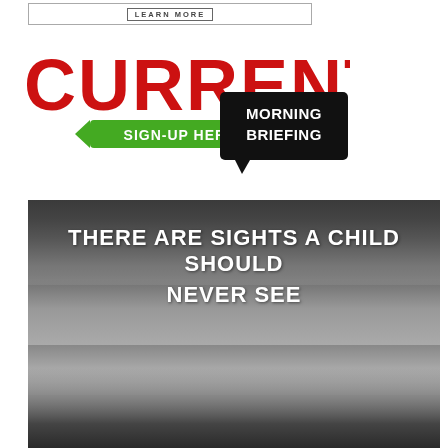[Figure (illustration): Advertisement banner with 'LEARN MORE' button text in bordered box]
[Figure (logo): Current Morning Briefing logo. Large red bold text 'CURRENT' with green ribbon 'SIGN-UP HERE' below and black speech bubble 'MORNING BRIEFING' to the right]
[Figure (photo): Black and white close-up photo of a child's face (eyes and forehead visible) with overlaid white bold uppercase text reading 'THERE ARE SIGHTS A CHILD SHOULD NEVER SEE']